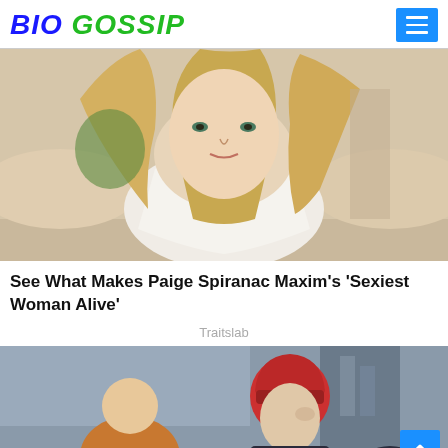BIO GOSSIP
[Figure (photo): Blonde woman in white crop top posing with arms outstretched]
See What Makes Paige Spiranac Maxim's 'Sexiest Woman Alive'
Traitslab
[Figure (photo): Person wearing red knit beanie cap in urban setting]